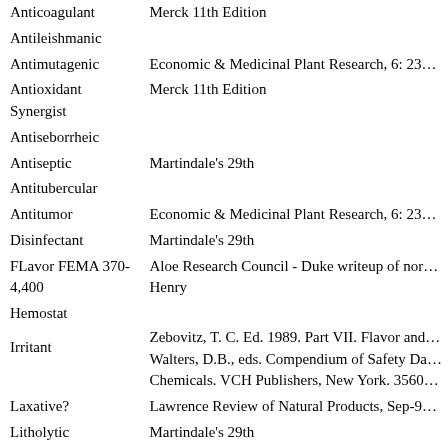| Activity | Reference |
| --- | --- |
| Anticoagulant | Merck 11th Edition |
| Antileishmanic |  |
| Antimutagenic | Economic & Medicinal Plant Research, 6: 23… |
| Antioxidant Synergist | Merck 11th Edition |
| Antiseborrheic |  |
| Antiseptic | Martindale's 29th |
| Antitubercular |  |
| Antitumor | Economic & Medicinal Plant Research, 6: 23… |
| Disinfectant | Martindale's 29th |
| FLavor FEMA 370-4,400 | Aloe Research Council - Duke writeup of nor… Henry |
| Hemostat |  |
| Irritant | Zebovitz, T. C. Ed. 1989. Part VII. Flavor and… Walters, D.B., eds. Compendium of Safety Da… Chemicals. VCH Publishers, New York. 3560… |
| Laxative? | Lawrence Review of Natural Products, Sep-9… |
| Litholytic | Martindale's 29th |
| Mycobactericide |  |
| Odontolytic | Zebovitz, T. C. Ed. 1989. Part VII. Flavor and… Walters, D.B., eds. Compendium of Safety Da… Chemicals. VCH Publishers, New York. 3560… |